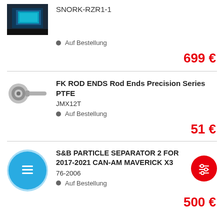[Figure (photo): Product image for SNORK-RZR1-1, partial product photo with blue/cyan colors]
SNORK-RZR1-1
Auf Bestellung
699 €
[Figure (photo): Rod end bearing product photo, silver/metallic hardware piece]
FK ROD ENDS Rod Ends Precision Series PTFE
JMX12T
Auf Bestellung
51 €
[Figure (illustration): Blue circle icon with document/list icon for S&B Particle Separator product]
S&B PARTICLE SEPARATOR 2 FOR 2017-2021 CAN-AM MAVERICK X3
76-2006
Auf Bestellung
500 €
[Figure (illustration): Red circular filter/settings button with sliders icon]